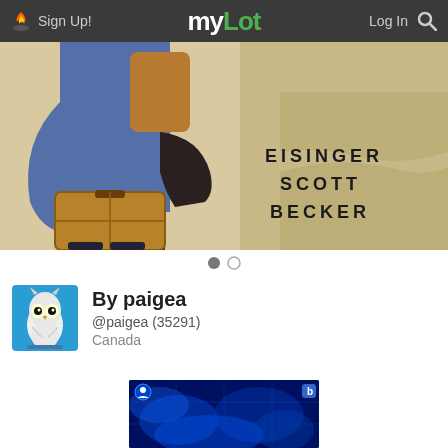Sign Up!  myLot  Log In
[Figure (illustration): Comic-style illustration of a person carrying luggage on a beach. The image shows a figure in a blue jacket holding a brown suitcase and a dark bag, with water/sand in the background. Text overlay reads: EISINGER SCOTT BECKER]
[Figure (other): Slideshow pagination dots: one filled (active) and one empty circle]
[Figure (photo): Profile avatar image of a snowy owl perched, shown in a teal/blue square thumbnail]
By paigea
@paigea (35291)
Canada
[Figure (screenshot): Advertisement banner with dark blue background showing abstract blue glowing shapes, with a small user icon and 'b' icon in corners]